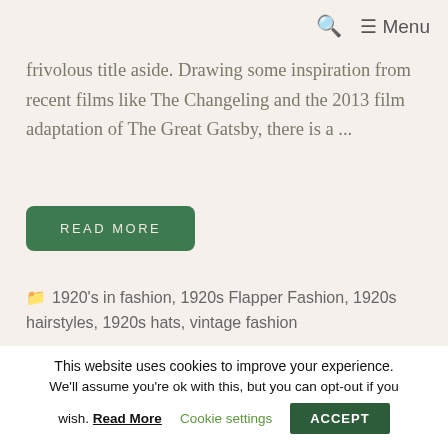🔍  ☰ Menu
frivolous title aside. Drawing some inspiration from recent films like The Changeling and the 2013 film adaptation of The Great Gatsby, there is a ...
READ MORE
1920's in fashion, 1920s Flapper Fashion, 1920s hairstyles, 1920s hats, vintage fashion
This website uses cookies to improve your experience. We'll assume you're ok with this, but you can opt-out if you wish. Read More Cookie settings ACCEPT